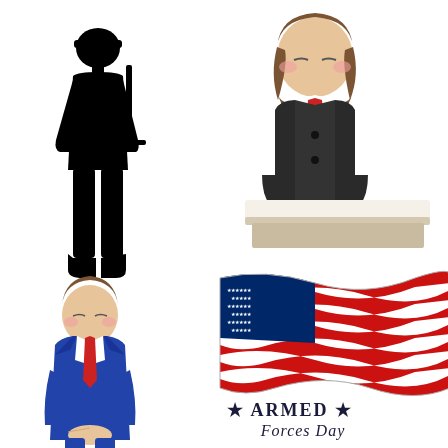[Figure (illustration): Armed Forces Day illustration collage: top-left is a black silhouette of a soldier standing at attention; top-right is a cartoon woman with brown hair bowing over a podium wearing a dark vest and red tie; bottom-left is a cartoon man in a blue suit with red tie bowing with hands clasped; bottom-right is a waving American flag with red, white, and blue stripes and white stars on blue field, with 'ARMED Forces Day' text and small silhouettes of three soldiers saluting below.]